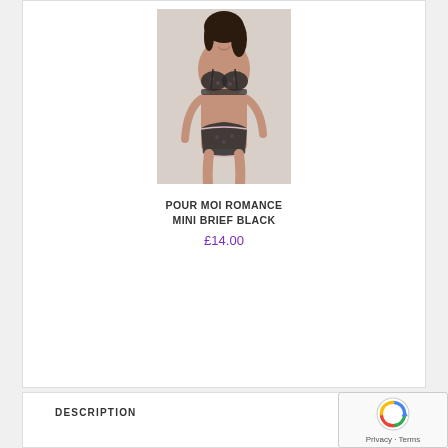[Figure (photo): A woman wearing a black floral lace bra and matching mini brief lingerie set against a light background.]
POUR MOI ROMANCE MINI BRIEF BLACK
£14.00
DESCRIPTION